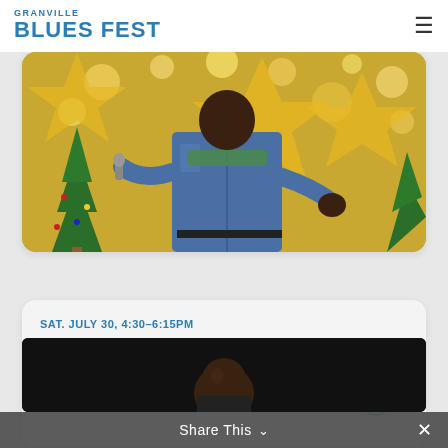GRANVILLE BLUES FEST
[Figure (photo): A performer in a denim jacket holding a microphone on stage with Christmas lights and decorations in the background]
SAT. JULY 30, 4:30-6:15PM
New Orleans Beau
Bio & Videos
[Figure (photo): Video thumbnail showing a person against a dark background]
Share This